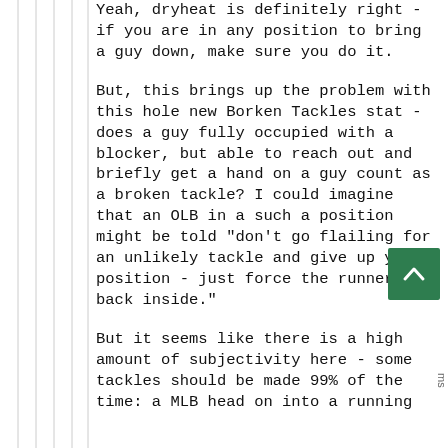Yeah, dryheat is definitely right - if you are in any position to bring a guy down, make sure you do it.
But, this brings up the problem with this hole new Borken Tackles stat - does a guy fully occupied with a blocker, but able to reach out and briefly get a hand on a guy count as a broken tackle? I could imagine that an OLB in a such a position might be told "don't go flailing for an unlikely tackle and give up your position - just force the runner back inside."
But it seems like there is a high amount of subjectivity here - some tackles should be made 99% of the time: a MLB head on into a running